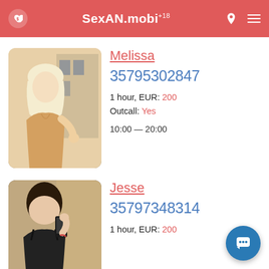SexAN.mobi +18
Melissa
35795302847
1 hour, EUR: 200
Outcall: Yes
10:00 — 20:00
[Figure (photo): Photo of Melissa, a blonde woman in a beige lace outfit standing outdoors]
Jesse
35797348314
1 hour, EUR: 200
[Figure (photo): Photo of Jesse, a dark-haired woman taking a mirror selfie in black lingerie]